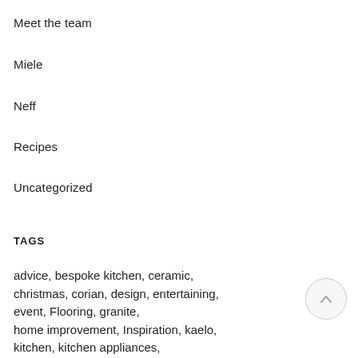Meet the team
Miele
Neff
Recipes
Uncategorized
TAGS
advice, bespoke kitchen, ceramic, christmas, corian, design, entertaining, event, Flooring, granite, home improvement, Inspiration, kaelo, kitchen, kitchen appliances, kitchen design, kitchen inspiration,